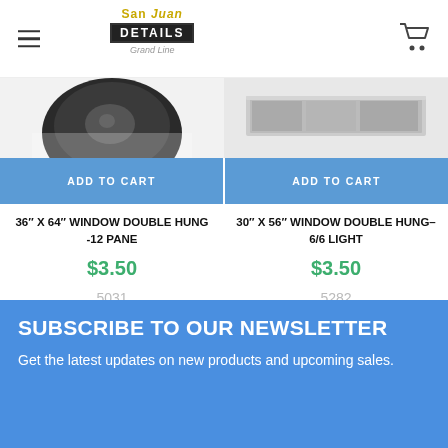San Juan Details - Grand Line
[Figure (photo): Partial product image of a window component (dark circular part), cropped at top]
[Figure (photo): Partial product image of a window component (light rectangular part), cropped at top]
ADD TO CART
ADD TO CART
36″ x 64″ WINDOW DOUBLE HUNG -12 PANE
30″ x 56″ WINDOW DOUBLE HUNG-6/6 LIGHT
$3.50
$3.50
5031
5282
SUBSCRIBE TO OUR NEWSLETTER
Get the latest updates on new products and upcoming sales.